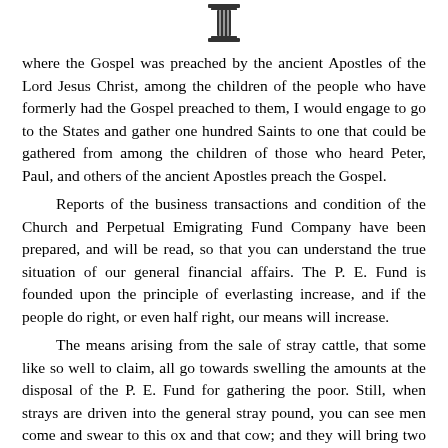[Figure (illustration): A small decorative column/pillar icon centered at the top of the page]
where the Gospel was preached by the ancient Apostles of the Lord Jesus Christ, among the children of the people who have formerly had the Gospel preached to them, I would engage to go to the States and gather one hundred Saints to one that could be gathered from among the children of those who heard Peter, Paul, and others of the ancient Apostles preach the Gospel.

Reports of the business transactions and condition of the Church and Perpetual Emigrating Fund Company have been prepared, and will be read, so that you can understand the true situation of our general financial affairs. The P. E. Fund is founded upon the principle of everlasting increase, and if the people do right, or even half right, our means will increase.

The means arising from the sale of stray cattle, that some like so well to claim, all go towards swelling the amounts at the disposal of the P. E. Fund for gathering the poor. Still, when strays are driven into the general stray pound, you can see men come and swear to this ox and that cow; and they will bring two or three others to testify to an animal they claim; and another man will step up and say, "That is my animal;" and he will also